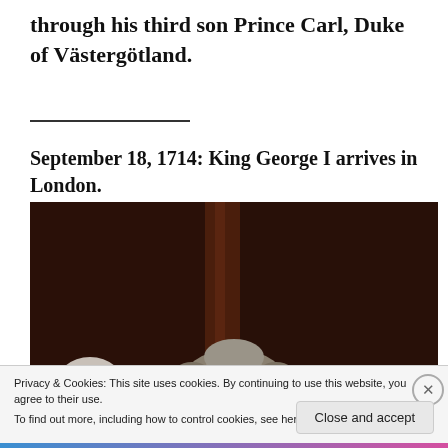through his third son Prince Carl, Duke of Västergötland.
[Figure (photo): Painting or portrait of a figure with gray/white styled hair, shown in front of a dark brown wooden background, likely a historical portrait of King George I.]
September 18, 1714: King George I arrives in London.
Privacy & Cookies: This site uses cookies. By continuing to use this website, you agree to their use.
To find out more, including how to control cookies, see here: Cookie Policy